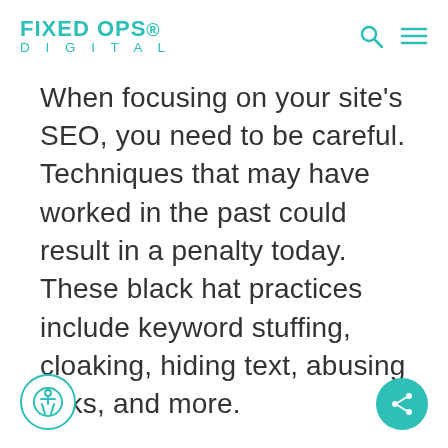FIXED OPS DIGITAL
When focusing on your site’s SEO, you need to be careful. Techniques that may have worked in the past could result in a penalty today. These black hat practices include keyword stuffing, cloaking, hiding text, abusing links, and more.